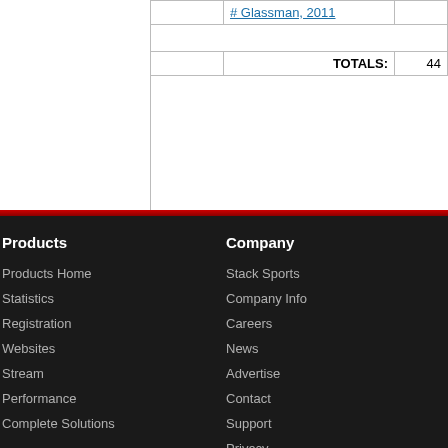|  | # Glassman, 2011 |  |
|  |  |  |
|  | TOTALS: | 44 |
Products
Company
Products Home
Stack Sports
Statistics
Company Info
Registration
Careers
Websites
News
Stream
Advertise
Performance
Contact
Complete Solutions
Support
Privacy